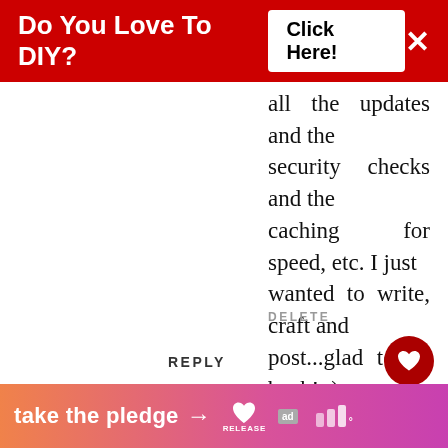[Figure (screenshot): Red ad banner at top: 'Do You Love To DIY? Click Here!' with X close button]
all the updates and the security checks and the caching for speed, etc. I just wanted to write, craft and post...glad to be back! :)
DELETE
REPLY
Deb @ Frugal Little Bungalow
FEBRUARY 22, 2015 AT 7:09 AM
I had wondered which plug-in it was :)
[Figure (infographic): Bottom orange-pink gradient banner: 'take the pledge →' with Release logo and ad markers]